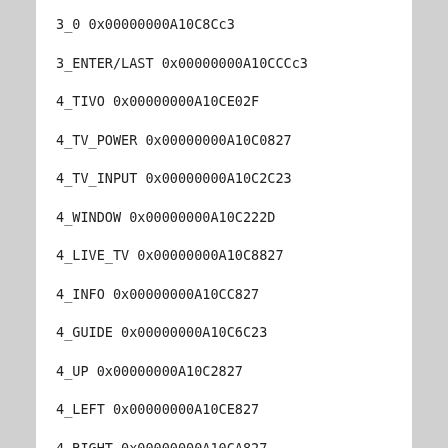3_0 0x00000000A10C8Cc3
3_ENTER/LAST 0x00000000A10CCCc3
4_TIVO 0x00000000A10CE02F
4_TV_POWER 0x00000000A10C0827
4_TV_INPUT 0x00000000A10C2C23
4_WINDOW 0x00000000A10C222D
4_LIVE_TV 0x00000000A10C8827
4_INFO 0x00000000A10CC827
4_GUIDE 0x00000000A10C6C23
4_UP 0x00000000A10C2827
4_LEFT 0x00000000A10CE827
4_RIGHT 0x00000000A10CA827